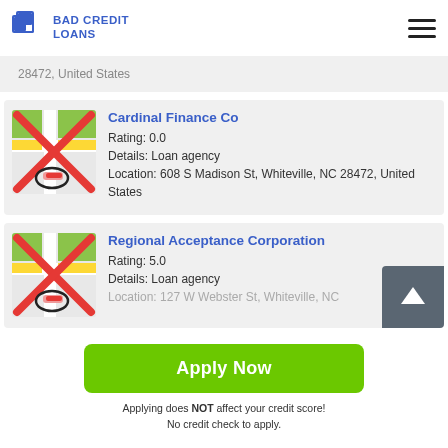BAD CREDIT LOANS
28472, United States
Cardinal Finance Co
Rating: 0.0
Details: Loan agency
Location: 608 S Madison St, Whiteville, NC 28472, United States
Regional Acceptance Corporation
Rating: 5.0
Details: Loan agency
Location: 127 W Webster St, Whiteville, NC
Apply Now
Applying does NOT affect your credit score!
No credit check to apply.